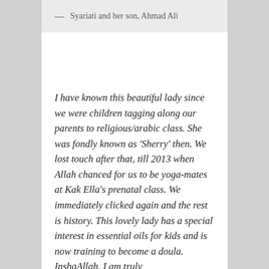— Syariati and her son, Ahmad Ali
I have known this beautiful lady since we were children tagging along our parents to religious/arabic class. She was fondly known as 'Sherry' then. We lost touch after that, till 2013 when Allah chanced for us to be yoga-mates at Kak Ella's prenatal class. We immediately clicked again and the rest is history. This lovely lady has a special interest in essential oils for kids and is now training to become a doula. InshaAllah. I am truly